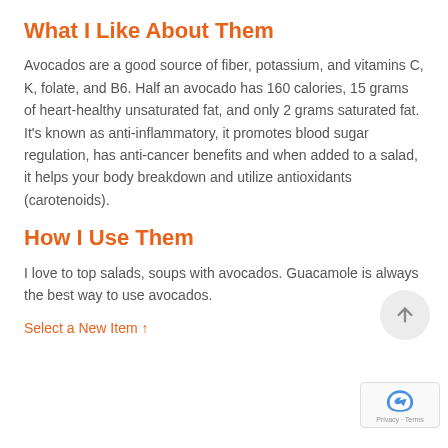What I Like About Them
Avocados are a good source of fiber, potassium, and vitamins C, K, folate, and B6. Half an avocado has 160 calories, 15 grams of heart-healthy unsaturated fat, and only 2 grams saturated fat. It's known as anti-inflammatory, it promotes blood sugar regulation, has anti-cancer benefits and when added to a salad, it helps your body breakdown and utilize antioxidants (carotenoids).
How I Use Them
I love to top salads, soups with avocados. Guacamole is always the best way to use avocados.
Select a New Item ↑